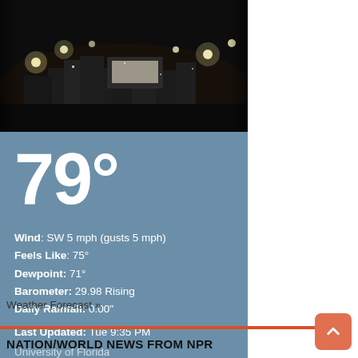[Figure (photo): Night aerial webcam photo of University of Florida campus area with lights and buildings visible in the dark]
79°
Wind: SW 5 mph (gusts 5 mph)
Feels Like: 75°
Dewpoint: 71°
Barometer: 29.98 Rising
Daily Rainfall: 0.00"
Last Updated: Tue 9:35 PM
University of Florida
Weather Forecast »
NATION/WORLD NEWS FROM NPR